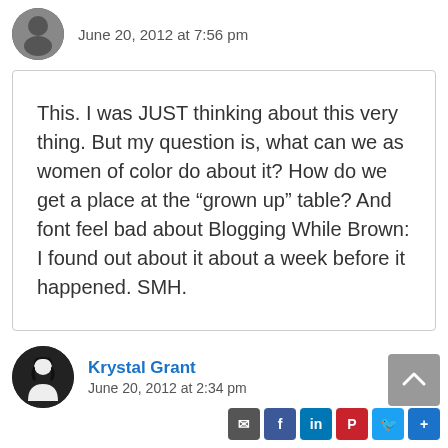[Figure (photo): Circular avatar photo of a person, partially visible at top]
June 20, 2012 at 7:56 pm
This. I was JUST thinking about this very thing. But my question is, what can we as women of color do about it? How do we get a place at the “grown up” table? And font feel bad about Blogging While Brown: I found out about it about a week before it happened. SMH.
[Figure (photo): Circular avatar silhouette icon of a person with dark background]
Krystal Grant
June 20, 2012 at 2:34 pm